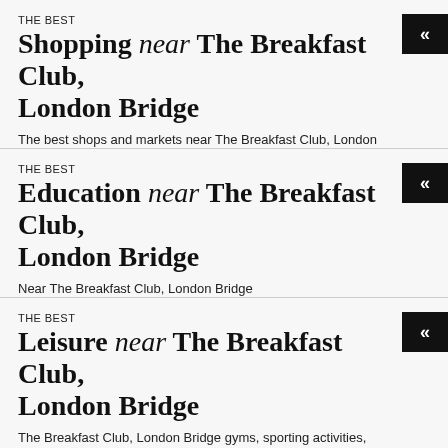THE BEST
Shopping near The Breakfast Club, London Bridge
The best shops and markets near The Breakfast Club, London Bridge
THE BEST
Education near The Breakfast Club, London Bridge
Near The Breakfast Club, London Bridge
THE BEST
Leisure near The Breakfast Club, London Bridge
The Breakfast Club, London Bridge gyms, sporting activities, health & beauty and fitness.